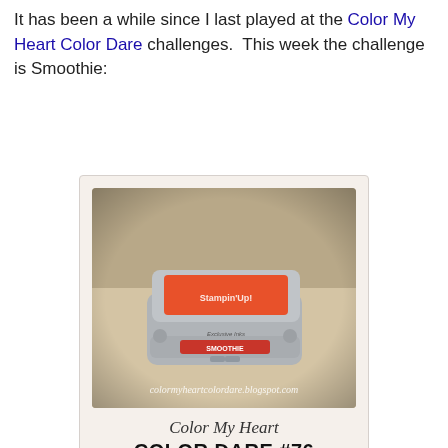It has been a while since I last played at the Color My Heart Color Dare challenges. This week the challenge is Smoothie:
[Figure (photo): A Stampin' Up Exclusive Inks stamp pad in Smoothie color (coral/red-orange color on top), photographed at an angle showing the label 'SMOOTHIE' on the front, with the watermark text 'colormyheartcolordare.blogspot.com' overlaid. Below the photo are the words 'Color My Heart' in script and 'COLOR DARE #76' in bold.]